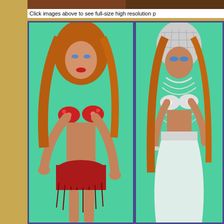[Figure (photo): Cropped top strip showing partial images of performers]
Click images above to see full-size high resolution p
[Figure (photo): Belly dancer in red jeweled costume with red hair on green background]
[Figure (photo): Performer in silver/white jeweled costume with headpiece on green background]